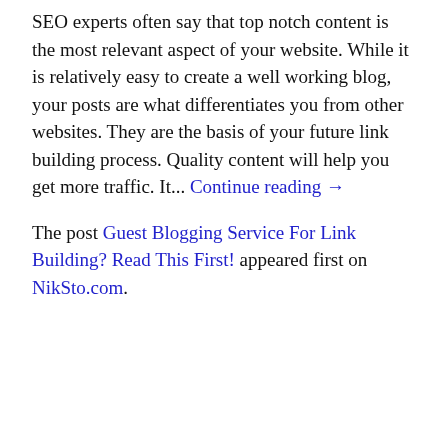SEO experts often say that top notch content is the most relevant aspect of your website. While it is relatively easy to create a well working blog, your posts are what differentiates you from other websites. They are the basis of your future link building process. Quality content will help you get more traffic. It... Continue reading →
The post Guest Blogging Service For Link Building? Read This First! appeared first on NikSto.com.